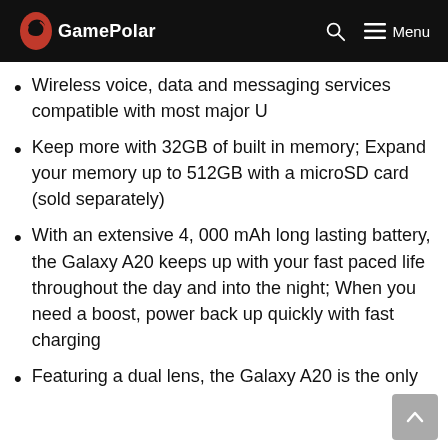GamePolar — Menu
Wireless voice, data and messaging services compatible with most major U
Keep more with 32GB of built in memory; Expand your memory up to 512GB with a microSD card (sold separately)
With an extensive 4, 000 mAh long lasting battery, the Galaxy A20 keeps up with your fast paced life throughout the day and into the night; When you need a boost, power back up quickly with fast charging
Featuring a dual lens, the Galaxy A20 is the only